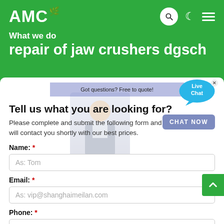AMC
What we do
repair of jaw crushers dgsch
Tell us what you are looking for?
Please complete and submit the following form and our sales team will contact you shortly with our best prices.
Name: *
As: Tom
Email: *
As: vip@shanghaimeilan.com
Phone: *
With Country Code